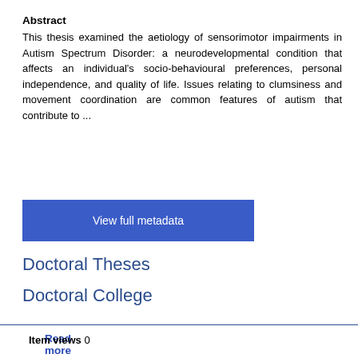Abstract
This thesis examined the aetiology of sensorimotor impairments in Autism Spectrum Disorder: a neurodevelopmental condition that affects an individual's socio-behavioural preferences, personal independence, and quality of life. Issues relating to clumsiness and movement coordination are common features of autism that contribute to ...
Read more
View full metadata
Doctoral Theses
Doctoral College
Item views 0